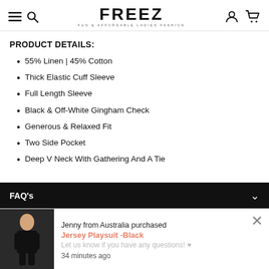FREEZ — FUN & AFFORDABLE LADIES FASHION
PRODUCT DETAILS:
55% Linen | 45% Cotton
Thick Elastic Cuff Sleeve
Full Length Sleeve
Black & Off-White Gingham Check
Generous & Relaxed Fit
Two Side Pocket
Deep V Neck With Gathering And A Tie
FAQ's
Jenny from Australia purchased
Jersey Playsuit -Black
Let us know if you have any questions! ♥
34 minutes ago